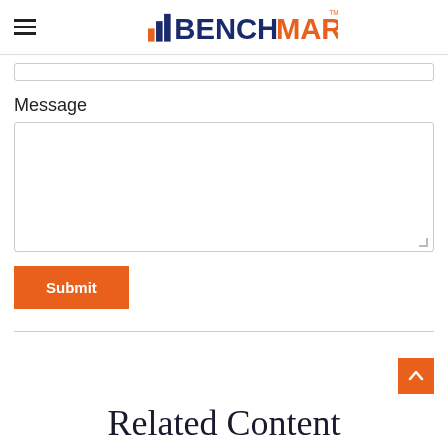BENCHMARK
Message
Submit
Related Content